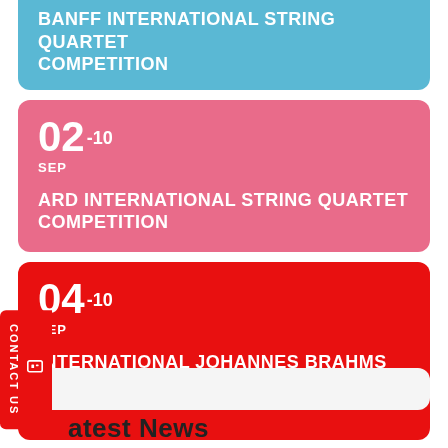BANFF INTERNATIONAL STRING QUARTET COMPETITION
02-10 SEP
ARD INTERNATIONAL STRING QUARTET COMPETITION
04-10 SEP
INTERNATIONAL JOHANNES BRAHMS COMPETITION MASTERCLASSES
CONTACT US
latest News